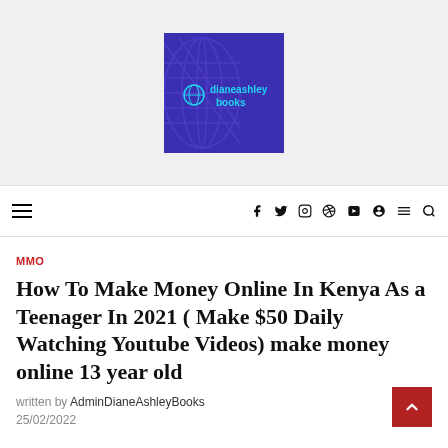[Figure (logo): DianeAshley Books logo — blue/purple background with globe wireframe graphic and text 'dianeashley books' in cyan on the right side]
≡  f  ✦  ◎  ⊕  ▶  ◉  ≡  🔍
MMO
How To Make Money Online In Kenya As a Teenager In 2021 ( Make $50 Daily Watching Youtube Videos) make money online 13 year old
written by AdminDianeAshleyBooks
25/02/2022